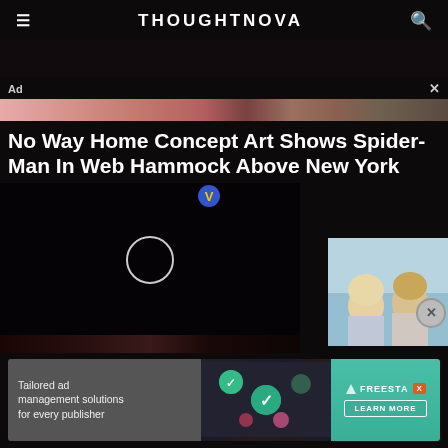THOUGHTNOVA
Ad
No Way Home Concept Art Shows Spider-Man In Web Hammock Above New York
[Figure (screenshot): Video player with a loading circle ring on dark background, with a small colorful V badge overlay and an overlay photo of two young people (a girl and a boy) in the corner]
[Figure (infographic): Bottom advertisement banner: 'Tailored ad management solutions for every publisher' with FREESTA branding and LEARN MORE button]